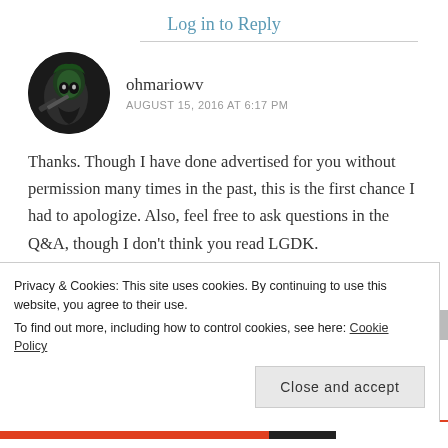Log in to Reply
ohmariowv
AUGUST 15, 2016 AT 6:17 PM
Thanks. Though I have done advertised for you without permission many times in the past, this is the first chance I had to apologize. Also, feel free to ask questions in the Q&A, though I don't think you read LGDK.
Privacy & Cookies: This site uses cookies. By continuing to use this website, you agree to their use.
To find out more, including how to control cookies, see here: Cookie Policy
Close and accept